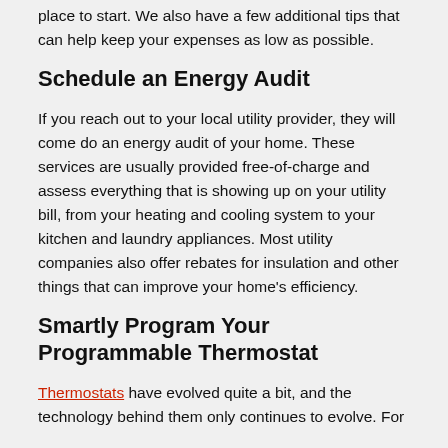place to start. We also have a few additional tips that can help keep your expenses as low as possible.
Schedule an Energy Audit
If you reach out to your local utility provider, they will come do an energy audit of your home. These services are usually provided free-of-charge and assess everything that is showing up on your utility bill, from your heating and cooling system to your kitchen and laundry appliances. Most utility companies also offer rebates for insulation and other things that can improve your home's efficiency.
Smartly Program Your Programmable Thermostat
Thermostats have evolved quite a bit, and the technology behind them only continues to evolve. For